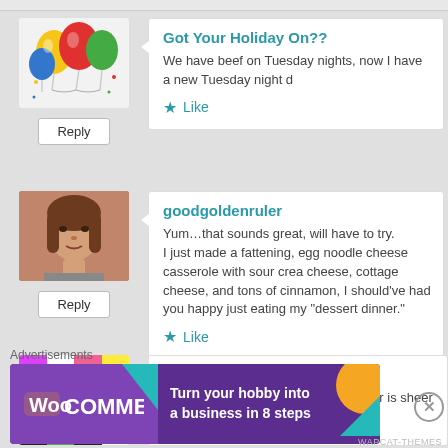[Figure (screenshot): Comment from 'Got Your Holiday On??' with balloon avatar and Reply button]
Got Your Holiday On??
We have beef on Tuesday nights, now I have a new Tuesday night d
Like
[Figure (screenshot): Comment from goodgoldenruler with woman avatar and Reply button]
goodgoldenruler
Yum…that sounds great, will have to try.
I just made a fattening, egg noodle cheese casserole with sour crea cheese, cottage cheese, and tons of cinnamon, I should've had you happy just eating my "dessert dinner."
Like
[Figure (screenshot): Comment from lissnup with colorblock avatar]
lissnup
Hiding your wife's purse as a reminder is sheer poetry, I love it.
Advertisements
[Figure (screenshot): WooCommerce advertisement banner: Turn your hobby into a business in 8 steps]